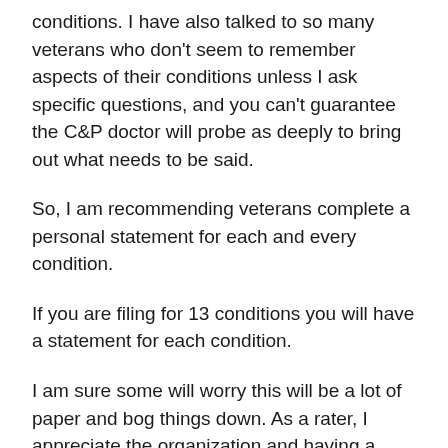conditions. I have also talked to so many veterans who don't seem to remember aspects of their conditions unless I ask specific questions, and you can't guarantee the C&P doctor will probe as deeply to bring out what needs to be said.
So, I am recommending veterans complete a personal statement for each and every condition.
If you are filing for 13 conditions you will have a statement for each condition.
I am sure some will worry this will be a lot of paper and bog things down. As a rater, I appreciate the organization and having a concise statement for each condition. It makes it easier to understand the whole picture and if you are on the borderline of say …a 30 and a 50 percent the statement gives me evidence to support going higher